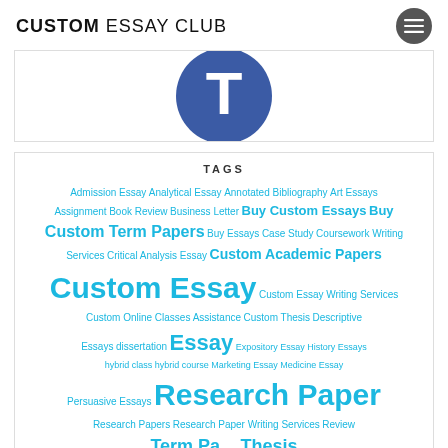CUSTOM ESSAY CLUB
[Figure (logo): Partial blue circle logo with white letter T visible at top, cropped at bottom of image box]
TAGS
Admission Essay Analytical Essay Annotated Bibliography Art Essays Assignment Book Review Business Letter Buy Custom Essays Buy Custom Term Papers Buy Essays Case Study Coursework Writing Services Critical Analysis Essay Custom Academic Papers Custom Essay Custom Essay Writing Services Custom Online Classes Assistance Custom Thesis Descriptive Essays dissertation Essay Expository Essay History Essays hybrid class hybrid course Marketing Essay Medicine Essay Persuasive Essays Research Paper Research Papers Research Paper Writing Services Review Term Paper Thesis